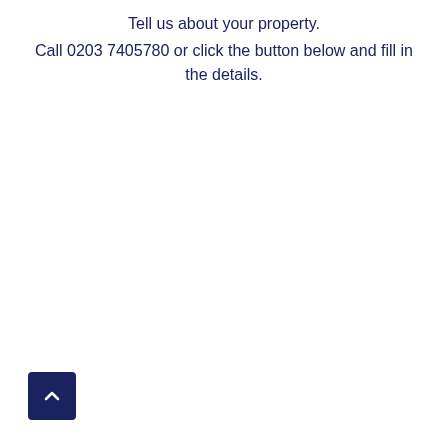Tell us about your property.
Call 0203 7405780 or click the button below and fill in the details.
[Figure (other): Dark navy blue square button with a white upward-pointing chevron arrow, used as a back-to-top navigation element]